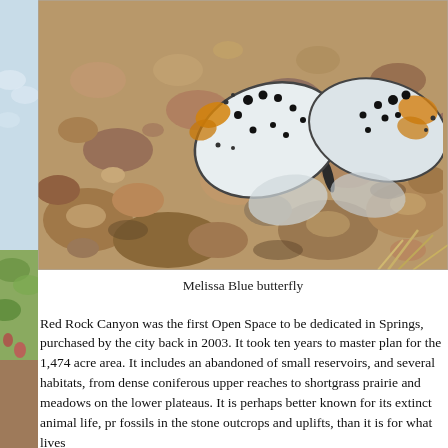[Figure (photo): Close-up photograph of a Melissa Blue butterfly resting on small gravel/rocks. The butterfly's wings are open showing white/silver undersides with black spots and orange markings near the edges.]
Melissa Blue butterfly
Red Rock Canyon was the first Open Space to be dedicated in Springs, purchased by the city back in 2003. It took ten years to master plan for the 1,474 acre area. It includes an abandoned of small reservoirs, and several habitats, from dense coniferous upper reaches to shortgrass prairie and meadows on the lower plateaus. It is perhaps better known for its extinct animal life, pr fossils in the stone outcrops and uplifts, than it is for what lives